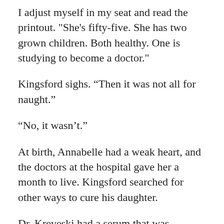I adjust myself in my seat and read the printout. "She's fifty-five. She has two grown children. Both healthy. One is studying to become a doctor."
Kingsford sighs. “Then it was not all for naught.”
“No, it wasn’t.”
At birth, Annabelle had a weak heart, and the doctors at the hospital gave her a month to live. Kingsford searched for other ways to cure his daughter.
Dr. Kreveski had a serum that was rumored to cure all fatal ailments, but it came with a steep price. “The cost is your death,” Dr. Kreveski had said, grimacing, as if he didn't like having the cure. "You must trade in your death to give her life. You